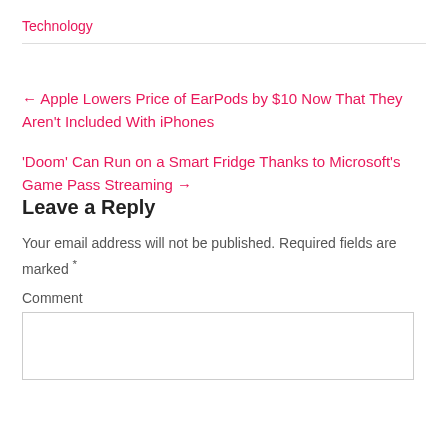Technology
← Apple Lowers Price of EarPods by $10 Now That They Aren't Included With iPhones
'Doom' Can Run on a Smart Fridge Thanks to Microsoft's Game Pass Streaming →
Leave a Reply
Your email address will not be published. Required fields are marked *
Comment